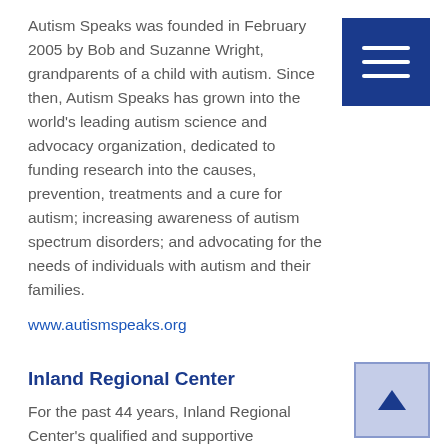Autism Speaks was founded in February 2005 by Bob and Suzanne Wright, grandparents of a child with autism. Since then, Autism Speaks has grown into the world's leading autism science and advocacy organization, dedicated to funding research into the causes, prevention, treatments and a cure for autism; increasing awareness of autism spectrum disorders; and advocating for the needs of individuals with autism and their families.
www.autismspeaks.org
Inland Regional Center
For the past 44 years, Inland Regional Center's qualified and supportive employees strive daily to serve more than 31,000 individuals with developmental disabilities in